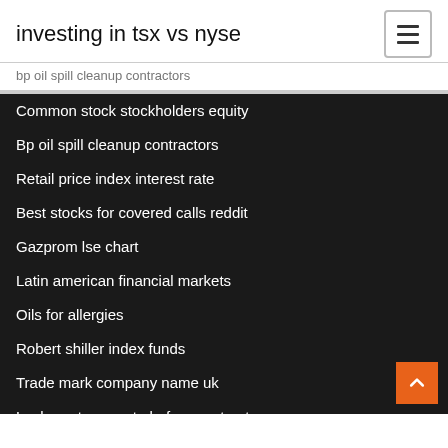investing in tsx vs nyse
bp oil spill cleanup contractors
Common stock stockholders equity
Bp oil spill cleanup contractors
Retail price index interest rate
Best stocks for covered calls reddit
Gazprom lse chart
Latin american financial markets
Oils for allergies
Robert shiller index funds
Trade mark company name uk
Lock mortgage rate before contract